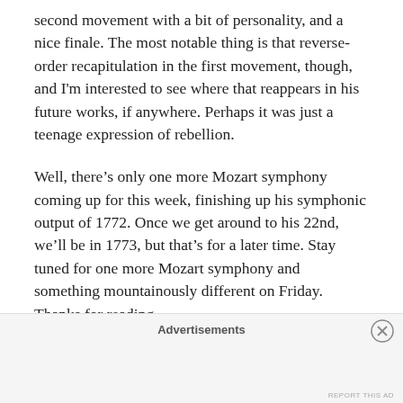second movement with a bit of personality, and a nice finale. The most notable thing is that reverse-order recapitulation in the first movement, though, and I'm interested to see where that reappears in his future works, if anywhere. Perhaps it was just a teenage expression of rebellion.
Well, there's only one more Mozart symphony coming up for this week, finishing up his symphonic output of 1772. Once we get around to his 22nd, we'll be in 1773, but that's for a later time. Stay tuned for one more Mozart symphony and something mountainously different on Friday. Thanks for reading.
Advertisements